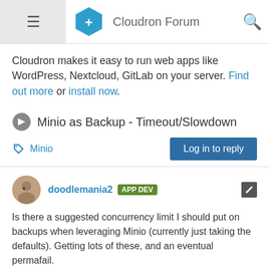Cloudron Forum
Cloudron makes it easy to run web apps like WordPress, Nextcloud, GitLab on your server. Find out more or install now.
Minio as Backup - Timeout/Slowdown
Minio
Log in to reply
doodlemania2 APP DEV
Is there a suggested concurrency limit I should put on backups when leveraging Minio (currently just taking the defaults). Getting lots of these, and an eventual permafail.

SlowDown: A timeout exceeded while waiting to proceed with the request, please reduce your request rate 503